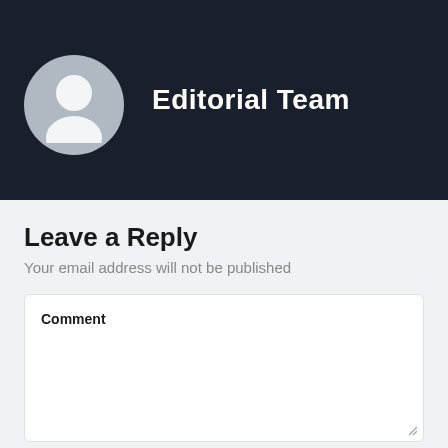[Figure (illustration): Dark header bar with circular avatar/profile placeholder icon on the left and 'Editorial Team' title text in white on the right]
Leave a Reply
Your email address will not be published
Comment
Enter your name
Enter your email
TOP ^